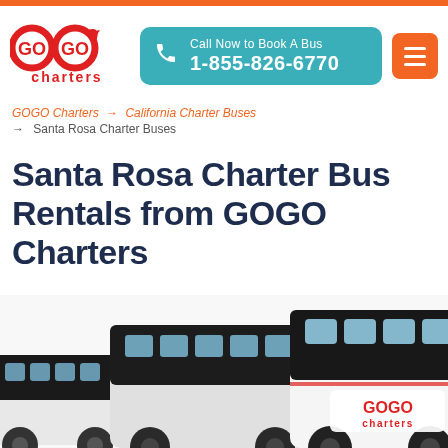[Figure (logo): GOGO Charters logo - red circular GOGO text with arrow, charters in red below]
Call Now to Book A Bus
1-855-826-6770
GOGO Charters → California Charter Buses → Santa Rosa Charter Buses
Santa Rosa Charter Bus Rentals from GOGO Charters
[Figure (photo): Fleet of white GOGO Charters charter buses parked together with blue sky background and decorative teal and light blue circles]